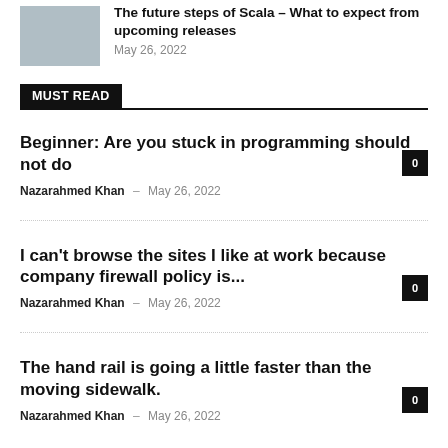[Figure (photo): Thumbnail image of a notebook with a watch and other items on a desk]
The future steps of Scala – What to expect from upcoming releases
May 26, 2022
MUST READ
Beginner: Are you stuck in programming should not do
Nazarahmed Khan - May 26, 2022
I can't browse the sites I like at work because company firewall policy is...
Nazarahmed Khan - May 26, 2022
The hand rail is going a little faster than the moving sidewalk.
Nazarahmed Khan - May 26, 2022